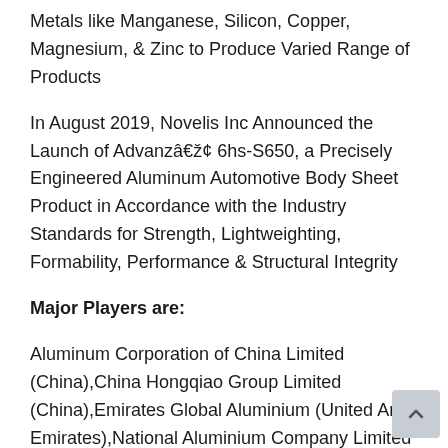Metals like Manganese, Silicon, Copper, Magnesium, & Zinc to Produce Varied Range of Products
In August 2019, Novelis Inc Announced the Launch of Advanzâ„¢ 6hs-S650, a Precisely Engineered Aluminum Automotive Body Sheet Product in Accordance with the Industry Standards for Strength, Lightweighting, Formability, Performance & Structural Integrity
Major Players are:
Aluminum Corporation of China Limited (China),China Hongqiao Group Limited (China),Emirates Global Aluminium (United Arab Emirates),National Aluminium Company Limited (Nalco) (India),Hindalco Industries Ltd